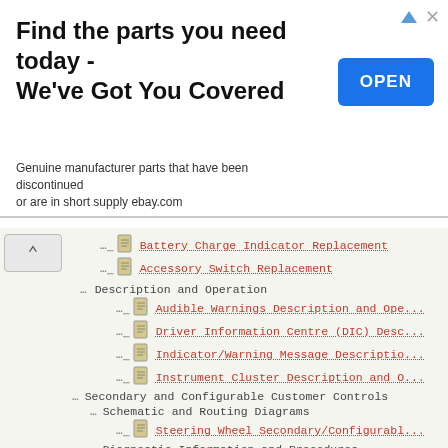[Figure (other): Advertisement banner: 'Find the parts you need today - We've Got You Covered' with OPEN button and description text about genuine manufacturer parts from ebay.com]
Battery Charge Indicator Replacement
Accessory Switch Replacement
Description and Operation
Audible Warnings Description and Operation
Driver Information Centre (DIC) Description
Indicator/Warning Message Description
Instrument Cluster Description and Operation
Secondary and Configurable Customer Controls
Schematic and Routing Diagrams
Steering Wheel Secondary/Configurable
Diagnostic Information and Procedures
Symptoms - Secondary and Configurable
Steering Wheel Controls Malfunction